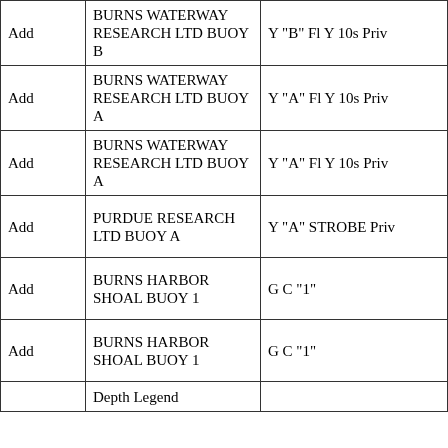| Add | BURNS WATERWAY RESEARCH LTD BUOY B | Y "B" Fl Y 10s Priv |
| Add | BURNS WATERWAY RESEARCH LTD BUOY A | Y "A" Fl Y 10s Priv |
| Add | BURNS WATERWAY RESEARCH LTD BUOY A | Y "A" Fl Y 10s Priv |
| Add | PURDUE RESEARCH LTD BUOY A | Y "A" STROBE Priv |
| Add | BURNS HARBOR SHOAL BUOY 1 | G C "1" |
| Add | BURNS HARBOR SHOAL BUOY 1 | G C "1" |
|  | Depth Legend |  |